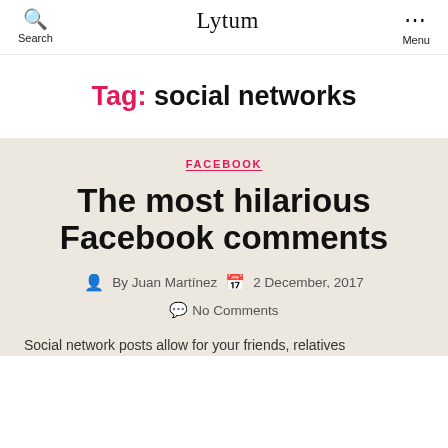Search   Lytum   Menu
Tag: social networks
FACEBOOK
The most hilarious Facebook comments
By Juan Martínez   2 December, 2017
No Comments
Social network posts allow for your friends, relatives